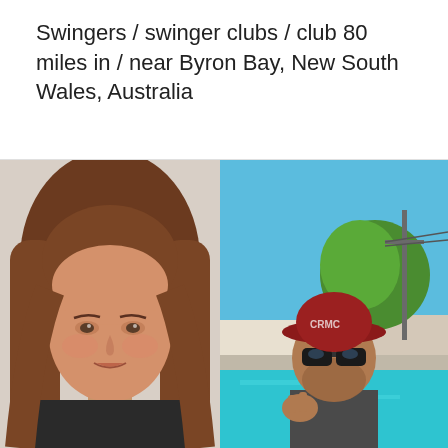Swingers / swinger clubs / club 80 miles in / near Byron Bay, New South Wales, Australia
[Figure (photo): Portrait photo of a woman with long auburn/brown hair, light skin, wearing a dark top, photographed indoors against a light wall background.]
[Figure (photo): Outdoor photo of a man wearing a dark red bucket hat with text on it and sunglasses, near a swimming pool with blue water, a green tree, power pole and building visible in the background under blue sky.]